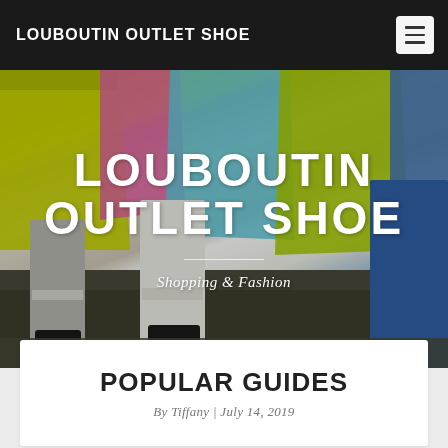LOUBOUTIN OUTLET SHOE
[Figure (photo): Hero banner photo showing legs of people carrying colorful shopping bags (yellow-green, pink, blue) with text overlay 'LOUBOUTIN OUTLET SHOE' and subtitle 'Shopping & Fashion']
POPULAR GUIDES
By Tiffany | July 14, 2019